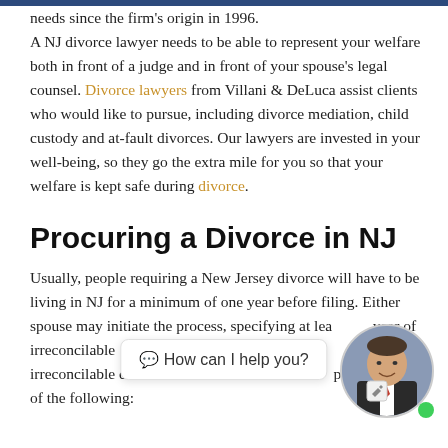needs since the firm's origin in 1996. A NJ divorce lawyer needs to be able to represent your welfare both in front of a judge and in front of your spouse's legal counsel. Divorce lawyers from Villani & DeLuca assist clients who would like to pursue, including divorce mediation, child custody and at-fault divorces. Our lawyers are invested in your well-being, so they go the extra mile for you so that your welfare is kept safe during divorce.
Procuring a Divorce in NJ
Usually, people requiring a New Jersey divorce will have to be living in NJ for a minimum of one year before filing. Either spouse may initiate the process, specifying at least one year of irreconcilable differences. For irreconcilable differences, the filer is required to prove one of the following: